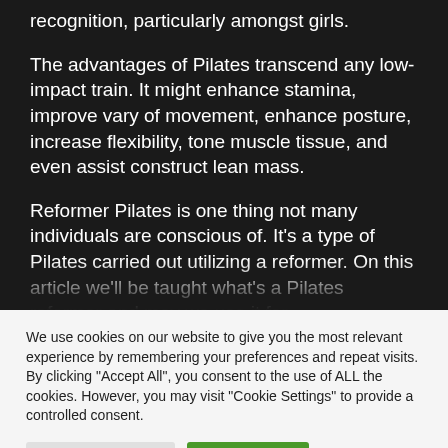recognition, particularly amongst girls.
The advantages of Pilates transcend any low-impact train. It might enhance stamina, improve vary of movement, enhance posture, increase flexibility, tone muscle tissue, and even assist construct lean mass.
Reformer Pilates is one thing not many individuals are conscious of. It's a type of Pilates carried out utilizing a reformer. On this article we'll be taught what's a Pilates reformer and may we use it for
We use cookies on our website to give you the most relevant experience by remembering your preferences and repeat visits. By clicking "Accept All", you consent to the use of ALL the cookies. However, you may visit "Cookie Settings" to provide a controlled consent.
Cookie Settings
Accept All